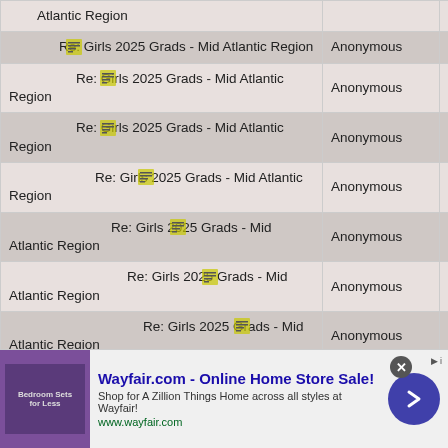| Topic | Author |  |
| --- | --- | --- |
| [icon] Re: Girls 2025 Grads - Mid Atlantic Region | Anonymous |  |
| [icon] Re: Girls 2025 Grads - Mid Atlantic Region | Anonymous |  |
| [icon] Re: Girls 2025 Grads - Mid Atlantic Region | Anonymous |  |
| [icon] Re: Girls 2025 Grads - Mid Atlantic Region | Anonymous |  |
| [icon] Re: Girls 2025 Grads - Mid Atlantic Region | Anonymous |  |
| [icon] Re: Girls 2025 Grads - Mid Atlantic Region | Anonymous |  |
| [icon] Re: Girls 2025 Grads - Mid Atlantic Region | Anonymous |  |
| [icon] Re: Girls 2025 Grads - Mid... | Anon... |  |
[Figure (infographic): Wayfair.com advertisement banner: 'Wayfair.com - Online Home Store Sale! Shop for A Zillion Things Home across all styles at Wayfair! www.wayfair.com' with purple bedroom image, close button, and arrow button.]